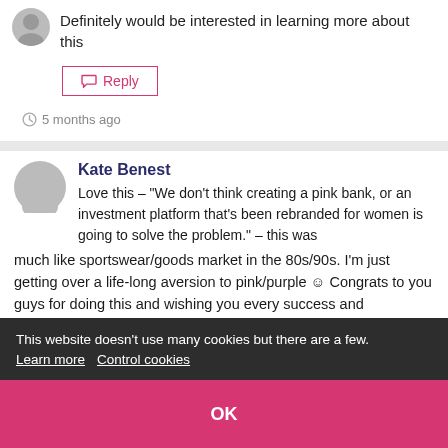Definitely would be interested in learning more about this
Reply
5 months ago
Kate Benest
Love this – "We don't think creating a pink bank, or an investment platform that's been rebranded for women is going to solve the problem." – this was much like sportswear/goods market in the 80s/90s. I'm just getting over a life-long aversion to pink/purple ☺ Congrats to you guys for doing this and wishing you every success and happiness!
This website doesn't use many cookies but there are a few. Learn more   Control cookies
OK